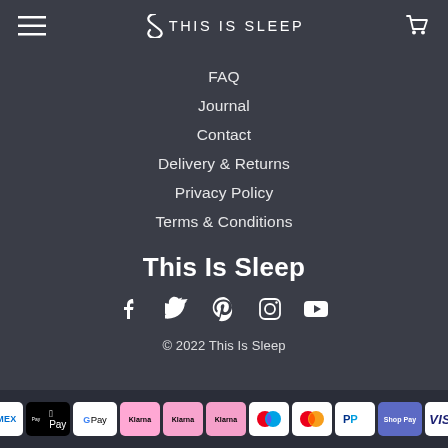THIS IS SLEEP
FAQ
Journal
Contact
Delivery & Returns
Privacy Policy
Terms & Conditions
This Is Sleep
[Figure (infographic): Social media icons: Facebook, Twitter, Pinterest, Instagram, YouTube]
© 2022 This Is Sleep
[Figure (infographic): Payment method icons: AMEX, Apple Pay, Google Pay, Klarna (x3), Maestro, Mastercard, PayPal, Shopify Pay, Visa]